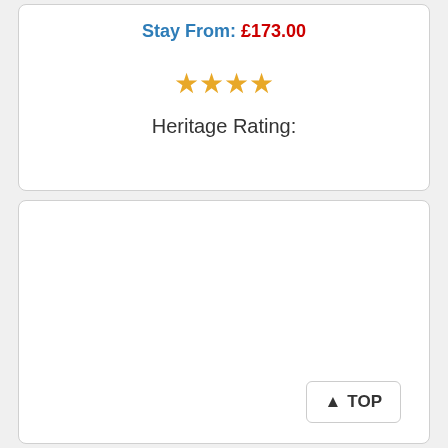Stay From: £173.00
[Figure (other): Four orange/gold star rating icons]
Heritage Rating:
▲ TOP